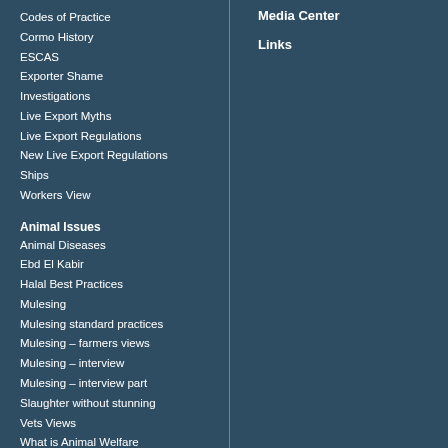Codes of Practice
Cormo History
ESCAS
Exporter Shame
Investigations
Live Export Myths
Live Export Regulations
New Live Export Regulations
Ships
Workers View
Animal Issues
Animal Diseases
Ebd El Kabir
Halal Best Practices
Mulesing
Mulesing standard practices
Mulesing – farmers views
Mulesing – interview
Mulesing – interview part
Slaughter without stunning
Vets Views
What is Animal Welfare
Public Discussion Forum
Media Center
Links